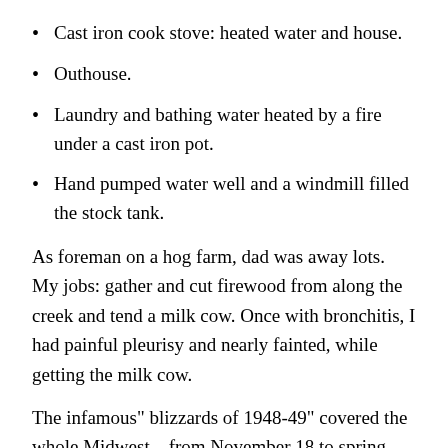Cast iron cook stove: heated water and house.
Outhouse.
Laundry and bathing water heated by a fire under a cast iron pot.
Hand pumped water well and a windmill filled the stock tank.
As foreman on a hog farm, dad was away lots. My jobs: gather and cut firewood from along the creek and tend a milk cow. Once with bronchitis, I had painful pleurisy and nearly fainted, while getting the milk cow.
The infamous” blizzards of 1948-49” covered the whole Midwest—from November 18 to spring 49’. School